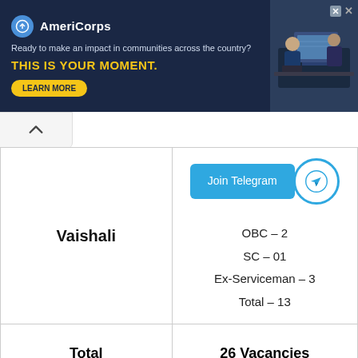[Figure (infographic): AmeriCorps advertisement banner with logo, tagline 'Ready to make an impact in communities across the country?', headline 'THIS IS YOUR MOMENT.', Learn More button, and photo of people at computers]
| Location | Vacancies |
| --- | --- |
| Vaishali | OBC – 2
SC – 01
Ex-Serviceman – 3
Total – 13 |
| Total | 26 Vacancies |